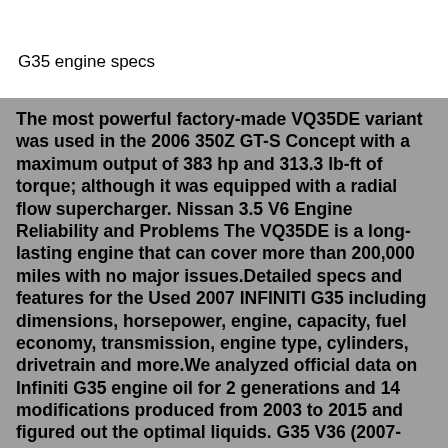G35 engine specs
The most powerful factory-made VQ35DE variant was used in the 2006 350Z GT-S Concept with a maximum output of 383 hp and 313.3 lb-ft of torque; although it was equipped with a radial flow supercharger. Nissan 3.5 V6 Engine Reliability and Problems The VQ35DE is a long-lasting engine that can cover more than 200,000 miles with no major issues.Detailed specs and features for the Used 2007 INFINITI G35 including dimensions, horsepower, engine, capacity, fuel economy, transmission, engine type, cylinders, drivetrain and more.We analyzed official data on Infiniti G35 engine oil for 2 generations and 14 modifications produced from 2003 to 2015 and figured out the optimal liquids. G35 V36 (2007-2015) Engine. Capacity. Change interval. Oil type. G Sedan AWD V36. 4,9 L (service fill), 5,7 L (dry fill). Filter capacity 0,3 L. 5000 miles/ 6